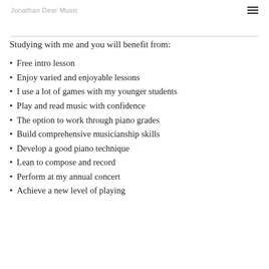Jonathan Dear Music
Studying with me and you will benefit from:
Free intro lesson
Enjoy varied and enjoyable lessons
I use a lot of games with my younger students
Play and read music with confidence
The option to work through piano grades
Build comprehensive musicianship skills
Develop a good piano technique
Lean to compose and record
Perform at my annual concert
Achieve a new level of playing